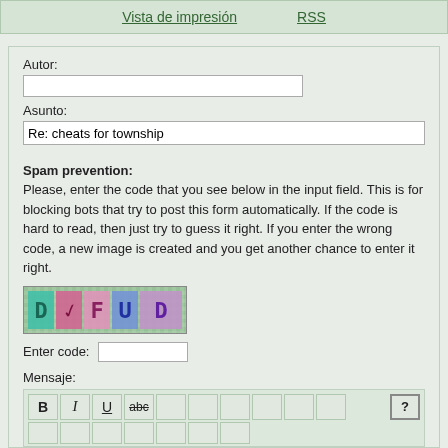Vista de impresión    RSS
Autor:
Asunto:
Re: cheats for township
Spam prevention:
Please, enter the code that you see below in the input field. This is for blocking bots that try to post this form automatically. If the code is hard to read, then just try to guess it right. If you enter the wrong code, a new image is created and you get another chance to enter it right.
[Figure (photo): CAPTCHA image showing colorful distorted characters: D Y F U D on a pixelated background]
Enter code:
Mensaje:
[Figure (screenshot): Rich text editor toolbar with buttons: B (bold), I (italic), U (underline), abc (strikethrough), and other empty buttons plus a ? help button]